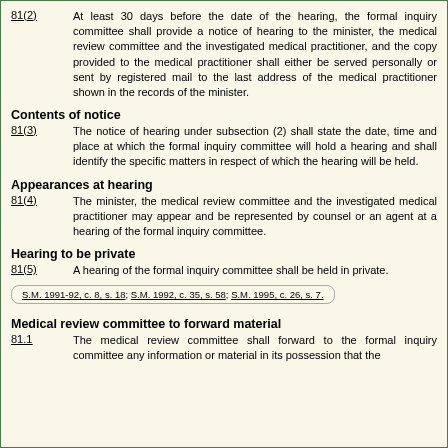81(2) At least 30 days before the date of the hearing, the formal inquiry committee shall provide a notice of hearing to the minister, the medical review committee and the investigated medical practitioner, and the copy provided to the medical practitioner shall either be served personally or sent by registered mail to the last address of the medical practitioner shown in the records of the minister.
Contents of notice
81(3) The notice of hearing under subsection (2) shall state the date, time and place at which the formal inquiry committee will hold a hearing and shall identify the specific matters in respect of which the hearing will be held.
Appearances at hearing
81(4) The minister, the medical review committee and the investigated medical practitioner may appear and be represented by counsel or an agent at a hearing of the formal inquiry committee.
Hearing to be private
81(5) A hearing of the formal inquiry committee shall be held in private.
S.M. 1991-92, c. 8, s. 18; S.M. 1992, c. 35, s. 58; S.M. 1995, c. 26, s. 7.
Medical review committee to forward material
81.1 The medical review committee shall forward to the formal inquiry committee any information or material in its possession that the